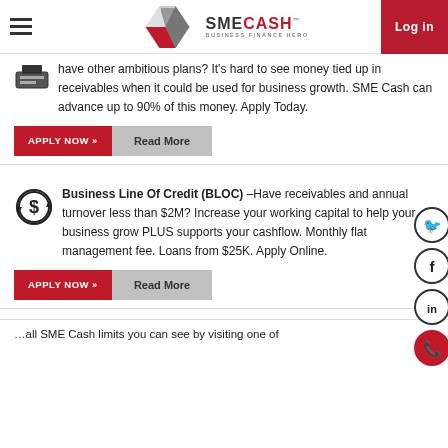SME Cash – Business Finance Hero | Log in
have other ambitious plans? It's hard to see money tied up in receivables when it could be used for business growth. SME Cash can advance up to 90% of this money. Apply Today.
APPLY NOW » | Read More
Business Line Of Credit (BLOC) – Have receivables and annual turnover less than $2M? Increase your working capital to help your business grow PLUS supports your cashflow. Monthly flat management fee. Loans from $25K. Apply Online.
APPLY NOW » | Read More
all SME Cash limits